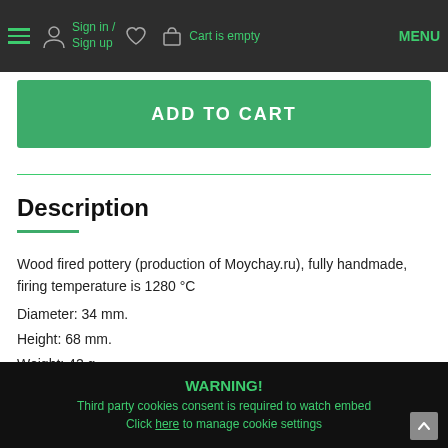Sign in / Sign up   Cart is empty   MENU
ADD TO CART
Description
Wood fired pottery (production of Moychay.ru), fully handmade, firing temperature is 1280 °C
Diameter: 34 mm.
Height: 68 mm.
Weight: 42 g.
[Figure (other): Embedded video area with cookie consent warning: WARNING! Third party cookies consent is required to watch embed. Click here to manage cookie settings.]